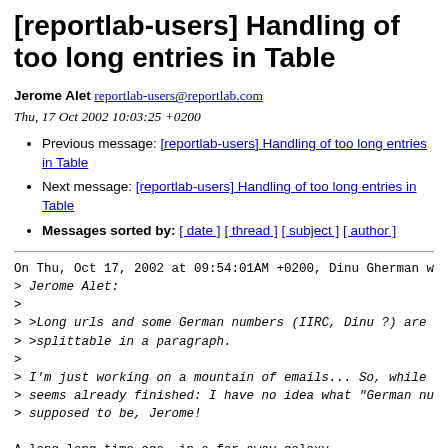[reportlab-users] Handling of too long entries in Table
Jerome Alet reportlab-users@reportlab.com
Thu, 17 Oct 2002 10:03:25 +0200
Previous message: [reportlab-users] Handling of too long entries in Table
Next message: [reportlab-users] Handling of too long entries in Table
Messages sorted by: [ date ] [ thread ] [ subject ] [ author ]
On Thu, Oct 17, 2002 at 09:54:01AM +0200, Dinu Gherman wr
> Jerome Alet:
>
> >Long urls and some German numbers (IIRC, Dinu ?) are n
> >splittable in a paragraph.
>
> I'm just working on a mountain of emails... So, while n
> seems already finished: I have no idea what "German num
> supposed to be, Jerome!

A long long time ago, in a far away galaxy...